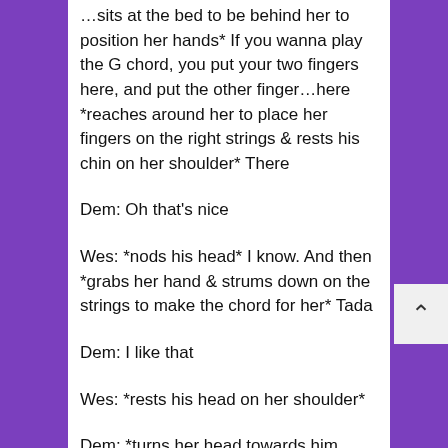...sits at the bed to be behind her to position her hands* If you wanna play the G chord, you put your two fingers here, and put the other finger…here *reaches around her to place her fingers on the right strings & rests his chin on her shoulder* There
Dem: Oh that's nice
Wes: *nods his head* I know. And then *grabs her hand & strums down on the strings to make the chord for her* Tada
Dem: I like that
Wes: *rests his head on her shoulder*
Dem: *turns her head towards him while feeling his breath on her* Comfy?
Wes: *looks up at her* I dunno 'bout you, but it's real nice up here. So is the view of your right earlobe